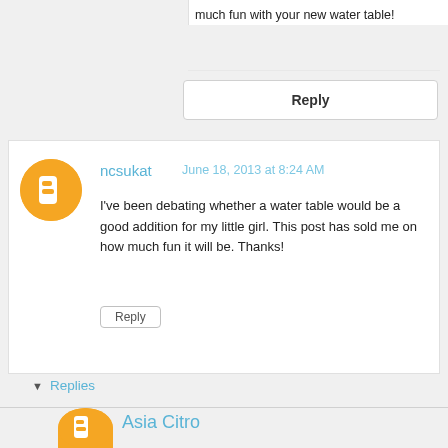much fun with your new water table!
Reply
ncsukat   June 18, 2013 at 8:24 AM
I've been debating whether a water table would be a good addition for my little girl. This post has sold me on how much fun it will be. Thanks!
Reply
Replies
Asia Citro